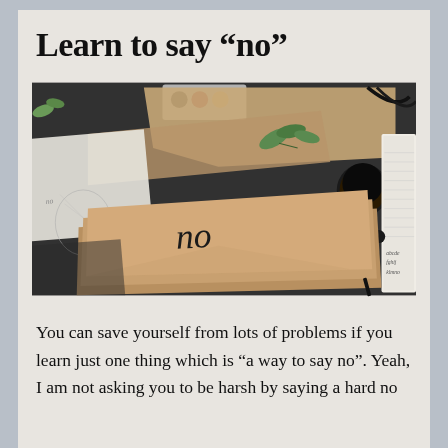Learn to say “no”
[Figure (photo): Overhead flat-lay photo of kraft paper envelopes and papers on a dark surface, with plants, ink pots, and an open notebook. The center envelope has the word 'no' written in cursive script.]
You can save yourself from lots of problems if you learn just one thing which is “a way to say no”. Yeah, I am not asking you to be harsh by saying a hard no